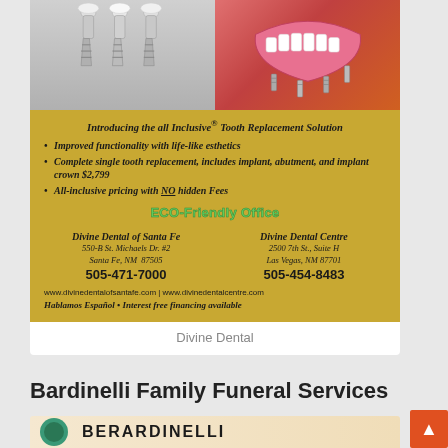[Figure (photo): Dental advertisement image showing dental implants and a denture on a gold/red background. Left half shows three implant posts in gray/silver on a light background. Right half shows a pink denture tray with implant screws on an orange-red background.]
Introducing the all Inclusive® Tooth Replacement Solution
Improved functionality with life-like esthetics
Complete single tooth replacement, includes implant, abutment, and implant crown $2,799
All-inclusive pricing with NO hidden Fees
ECO-Friendly Office
Divine Dental of Santa Fe
550-B St. Michaels Dr. #2
Santa Fe, NM  87505
505-471-7000
Divine Dental Centre
2500 7th St., Suite H
Las Vegas, NM 87701
505-454-8483
www.divinedentalofsantafe.com | www.divinedentalcentre.com
Hablamos Español • Interest free financing available
Divine Dental
Bardinelli Family Funeral Services
[Figure (logo): Bardinelli Family Funeral Services logo — circular teal/green emblem on left, bold dark text BERARDINELLI on right, on a warm beige/tan background.]